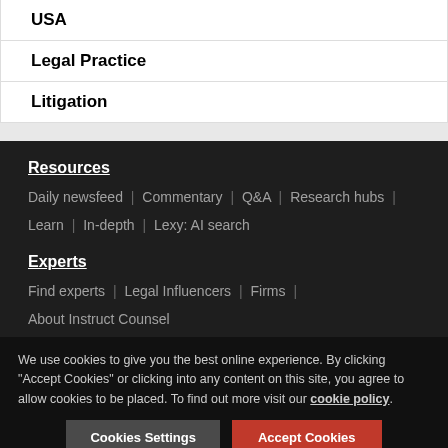USA
Legal Practice
Litigation
Resources
Daily newsfeed | Commentary | Q&A | Research hubs | Learn | In-depth | Lexy: AI search
Experts
Find experts | Legal Influencers | Firms | About Instruct Counsel
We use cookies to give you the best online experience. By clicking "Accept Cookies" or clicking into any content on this site, you agree to allow cookies to be placed. To find out more visit our cookie policy.
Cookies Settings | Accept Cookies